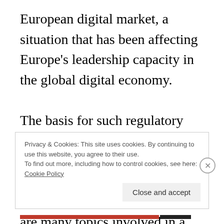European digital market, a situation that has been affecting Europe's leadership capacity in the global digital economy.

The basis for such regulatory initiatives are Article 4 (2) (a) and Articles 26, 27, 114 and 115 of the Treaty on the Functioning of the European Union. There are many topics involved in a comprehensive and integrated single market initiative: data protection, e-commerce, consumer
Privacy & Cookies: This site uses cookies. By continuing to use this website, you agree to their use.
To find out more, including how to control cookies, see here: Cookie Policy
Close and accept